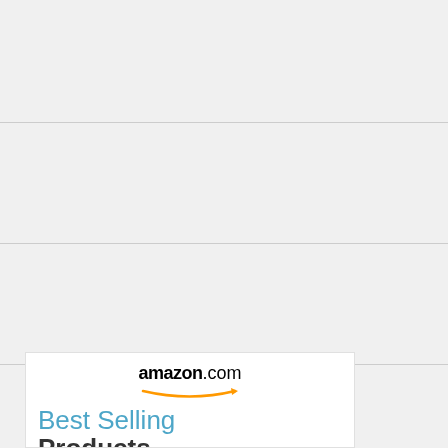[Figure (screenshot): Amazon.com Best Selling Products advertisement banner showing the Amazon logo with orange arrow, 'Best Selling' in light blue text, and 'Products' in dark bold text, partially cut off at bottom]
amazon.com Best Selling Products